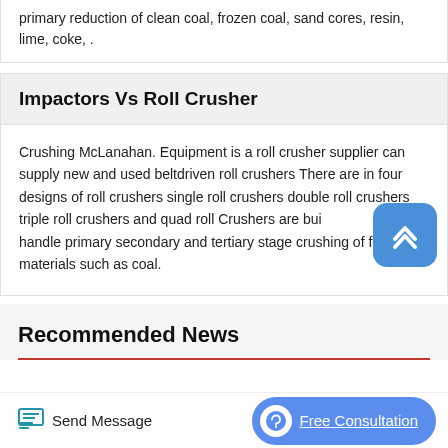primary reduction of clean coal, frozen coal, sand cores, resin, lime, coke, .
Impactors Vs Roll Crusher
Crushing McLanahan. Equipment is a roll crusher supplier can supply new and used beltdriven roll crushers There are in four designs of roll crushers single roll crushers double roll crushers triple roll crushers and quad roll Crushers are built to handle primary secondary and tertiary stage crushing of friable materials such as coal.
Recommended News
Send Message
Free Consultation